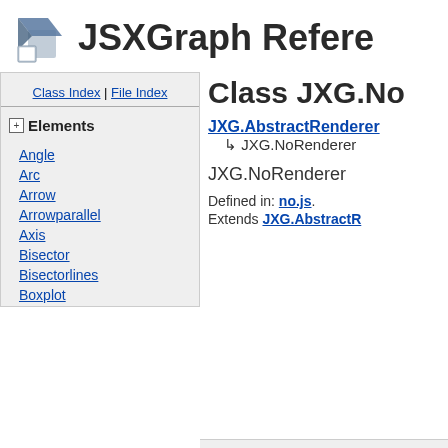JSXGraph Refere
Class Index | File Index
Elements
Angle
Arc
Arrow
Arrowparallel
Axis
Bisector
Bisectorlines
Boxplot
Class JXG.No
JXG.AbstractRenderer ↳ JXG.NoRenderer
JXG.NoRenderer
Defined in: no.js.
Extends JXG.AbstractR